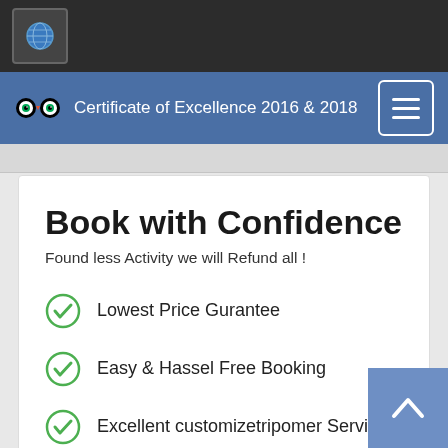Certificate of Excellence 2016 & 2018
Book with Confidence
Found less Activity we will Refund all !
Lowest Price Gurantee
Easy & Hassel Free Booking
Excellent customizetripomer Service
Need Help
24/7 customizetripomer Service